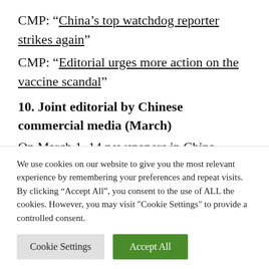CMP: “China’s top watchdog reporter strikes again”
CMP: “Editorial urges more action on the vaccine scandal”
10. Joint editorial by Chinese commercial media (March)
On March 1, 14 newspapers in China jointly issued an editorial called “Will Our NPC
We use cookies on our website to give you the most relevant experience by remembering your preferences and repeat visits. By clicking “Accept All”, you consent to the use of ALL the cookies. However, you may visit "Cookie Settings" to provide a controlled consent.
Cookie Settings | Accept All